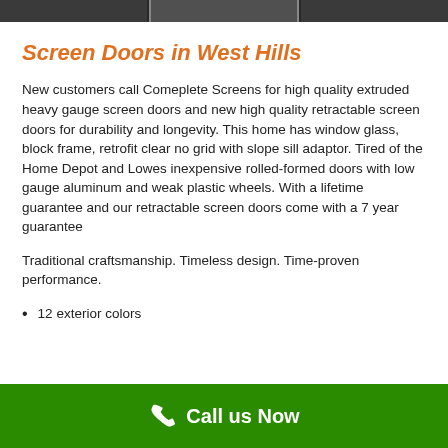[Figure (photo): Three photos in a horizontal strip at the top of the page showing screen doors or windows]
Screen Doors in West Hills
New customers call Comeplete Screens for high quality extruded heavy gauge screen doors and new high quality retractable screen doors for durability and longevity. This home has window glass, block frame, retrofit clear no grid with slope sill adaptor. Tired of the Home Depot and Lowes inexpensive rolled-formed doors with low gauge aluminum and weak plastic wheels. With a lifetime guarantee and our retractable screen doors come with a 7 year guarantee
Traditional craftsmanship. Timeless design. Time-proven performance.
12 exterior colors
Call us Now